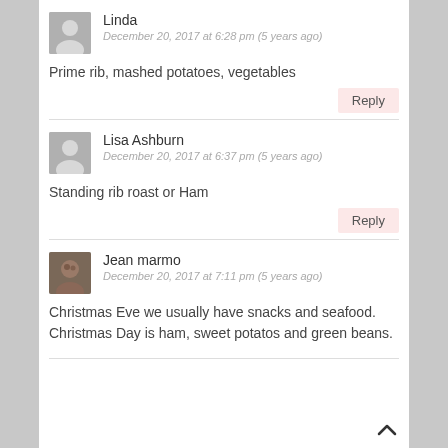Linda
December 20, 2017 at 6:28 pm (5 years ago)
Prime rib, mashed potatoes, vegetables
Reply
Lisa Ashburn
December 20, 2017 at 6:37 pm (5 years ago)
Standing rib roast or Ham
Reply
Jean marmo
December 20, 2017 at 7:11 pm (5 years ago)
Christmas Eve we usually have snacks and seafood. Christmas Day is ham, sweet potatos and green beans.